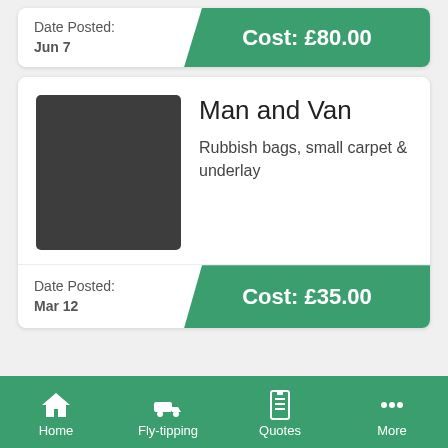Date Posted: Jun 7
Cost: £80.00
Man and Van
Rubbish bags, small carpet & underlay
Date Posted: Mar 12
Cost: £35.00
FLYTIPPING IN TORFAEN
Home  Fly-tipping  Quotes  More